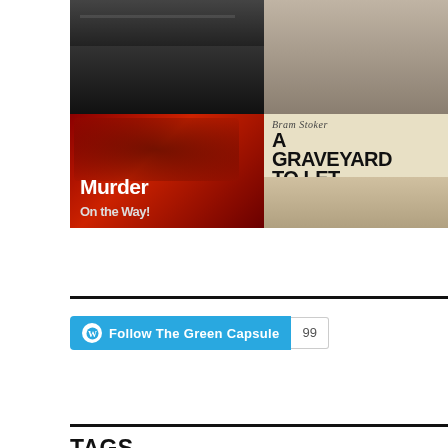[Figure (photo): Grid of four book covers: top-left shows a dark band/music photo, top-right shows an aged group photo, bottom-left shows 'Murder On the Way!' with a red and black horror-style cover, bottom-right shows 'Bram Stoker: A Graveyard To Let' with a vintage book cover featuring cemetery imagery.]
Follow The Green Capsule 99
TAGS